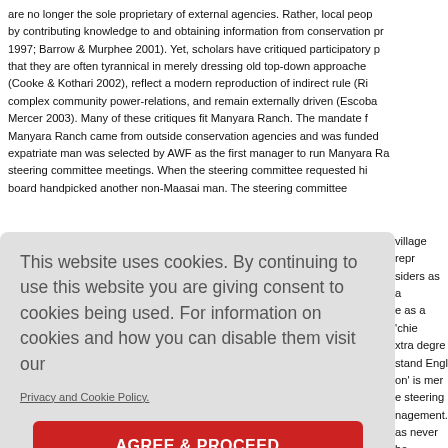are no longer the sole proprietary of external agencies. Rather, local peop by contributing knowledge to and obtaining information from conservation pr 1997; Barrow & Murphee 2001). Yet, scholars have critiqued participatory p that they are often tyrannical in merely dressing old top-down approache (Cooke & Kothari 2002), reflect a modern reproduction of indirect rule (Ri complex community power-relations, and remain externally driven (Escoba Mercer 2003). Many of these critiques fit Manyara Ranch. The mandate f Manyara Ranch came from outside conservation agencies and was funded  expatriate man was selected by AWF as the first manager to run Manyara R steering committee meetings. When the steering committee requested hi board handpicked another non-Maasai man. The steering committee  village repr siders as a e as a 'chie xtra degre stand Engl on' is mer e steering nagement. as never be sonnel dec
This website uses cookies. By continuing to use this website you are giving consent to cookies being used. For information on cookies and how you can disable them visit our
Privacy and Cookie Policy.
AGREE & PROCEED